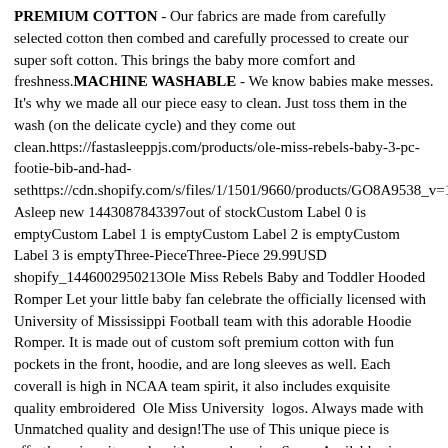PREMIUM COTTON - Our fabrics are made from carefully selected cotton then combed and carefully processed to create our super soft cotton. This brings the baby more comfort and freshness.MACHINE WASHABLE - We know babies make messes. It's why we made all our piece easy to clean. Just toss them in the wash (on the delicate cycle) and they come out clean.https://fastasleeppjs.com/products/ole-miss-rebels-baby-3-pc-footie-bib-and-had-sethttps://cdn.shopify.com/s/files/1/1501/9660/products/GO8A9538_v=1571450826Fast Asleep new 1443087843397out of stockCustom Label 0 is emptyCustom Label 1 is emptyCustom Label 2 is emptyCustom Label 3 is emptyThree-PieceThree-Piece 29.99USD shopify_1446002950213Ole Miss Rebels Baby and Toddler Hooded Romper Let your little baby fan celebrate the officially licensed with University of Mississippi Football team with this adorable Hoodie Romper. It is made out of custom soft premium cotton with fun pockets in the front, hoodie, and are long sleeves as well. Each coverall is high in NCAA team spirit, it also includes exquisite quality embroidered  Ole Miss University  logos. Always made with  Unmatched quality and design!The use of This unique piece is effortless since its made with easy changing Snaps.Available sizes are: 3–6 Months, 6–9 months 9-12 months, 12-18 months and 18-2 months.Let your baby Miss Rebels Gear, be the pride of the Ole Miss Rebels team with this fantastic, authentic, ultra soft, 100% cotton piece, perfect as a gif, daily baby